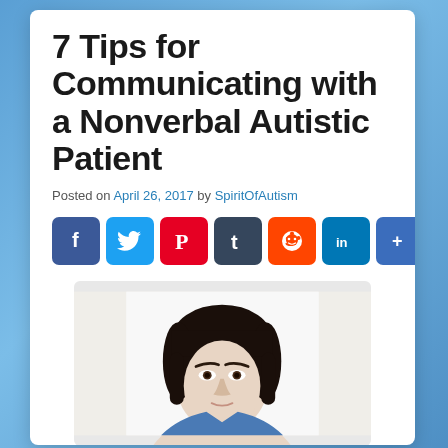7 Tips for Communicating with a Nonverbal Autistic Patient
Posted on April 26, 2017 by SpiritOfAutism
[Figure (infographic): Social media sharing buttons: Facebook (f), Twitter (bird), Pinterest (P), Tumblr (t), Reddit (alien), LinkedIn (in), More (+)]
[Figure (photo): Portrait photo of a young person with dark hair looking at the camera against a white background.]